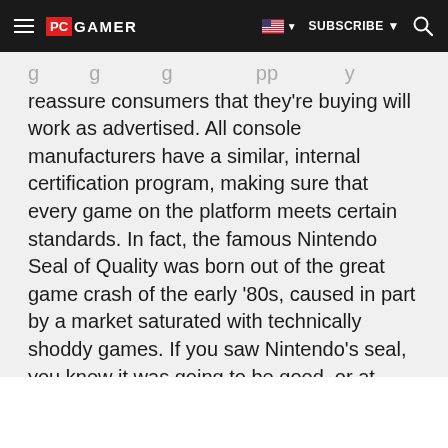PC GAMER | SUBSCRIBE
g g g pp y reassure consumers that what they're buying will work as advertised. All console manufacturers have a similar, internal certification program, making sure that every game on the platform meets certain standards. In fact, the famous Nintendo Seal of Quality was born out of the great game crash of the early '80s, caused in part by a market saturated with technically shoddy games. If you saw Nintendo's seal, you knew it was going to be good, or at least work properly.
RECOMMENDED VIDEOS FOR YOU...